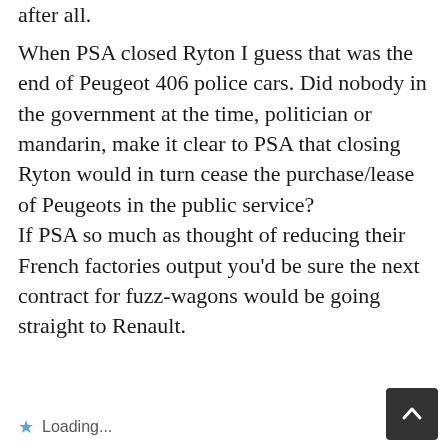after all.
When PSA closed Ryton I guess that was the end of Peugeot 406 police cars. Did nobody in the government at the time, politician or mandarin, make it clear to PSA that closing Ryton would in turn cease the purchase/lease of Peugeots in the public service? If PSA so much as thought of reducing their French factories output you’d be sure the next contract for fuzz-wagons would be going straight to Renault.
Loading...